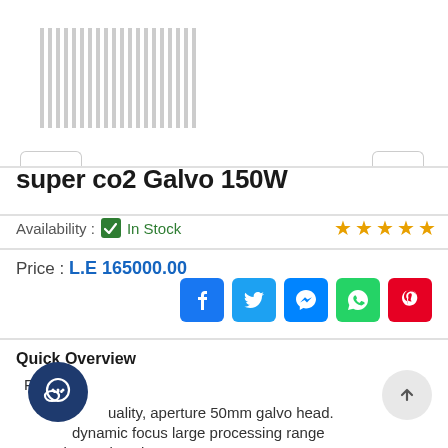[Figure (other): Barcode/scanner illustration at top of page]
super co2 Galvo 150W
Availability : ✓ In Stock  ★★★★★
Price : L.E 165000.00
[Figure (other): Social media share buttons: Facebook, Twitter, Messenger, WhatsApp, Pinterest]
Quick Overview
Features:
High quality, aperture 50mm galvo head.
With dynamic focus large processing range
Engraving and cutting.